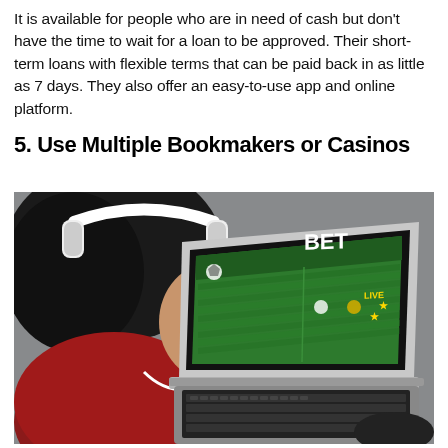It is available for people who are in need of cash but don't have the time to wait for a loan to be approved. Their short-term loans with flexible terms that can be paid back in as little as 7 days. They also offer an easy-to-use app and online platform.
5. Use Multiple Bookmakers or Casinos
[Figure (photo): Person wearing white headphones and a red hoodie, viewed from behind/side, using a laptop. The laptop screen shows a green online betting interface with 'BET' text in white, a soccer ball icon, and 'LIVE' label with star icons. The person's hand is on the keyboard.]